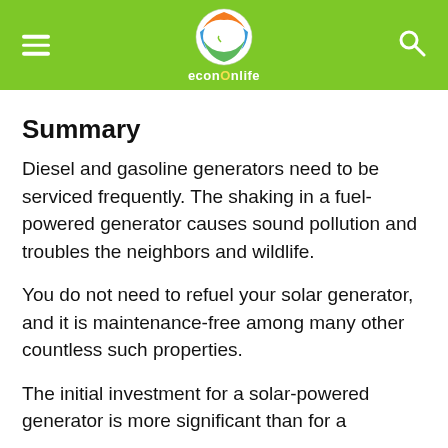econOnlife
Summary
Diesel and gasoline generators need to be serviced frequently. The shaking in a fuel-powered generator causes sound pollution and troubles the neighbors and wildlife.
You do not need to refuel your solar generator, and it is maintenance-free among many other countless such properties.
The initial investment for a solar-powered generator is more significant than for a conventional fuel-powered generator.